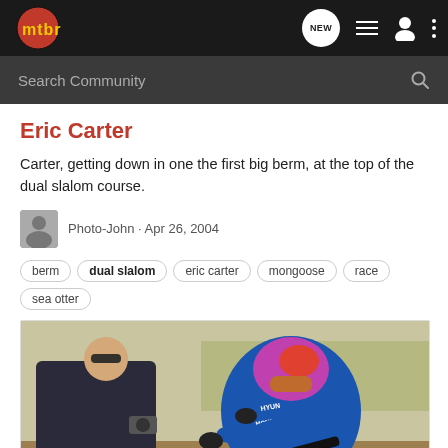mtbr - navigation bar with logo and icons
Search Community
Eric Carter
Carter, getting down in one the first big berm, at the top of the dual slalom course.
Photo-John · Apr 26, 2004
berm
dual slalom
eric carter
mongoose
race
sea otter
[Figure (photo): Eric Carter riding a mountain bike on a dual slalom course berm, wearing a blue Hyundai Mongoose jersey and colorful helmet. A spectator with sunglasses watches from the left side.]